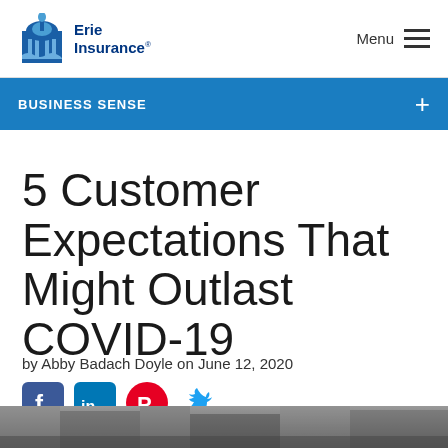Erie Insurance | Menu
BUSINESS SENSE
5 Customer Expectations That Might Outlast COVID-19
by Abby Badach Doyle on June 12, 2020
[Figure (other): Social media sharing icons: Facebook, LinkedIn, Pinterest, Twitter]
[Figure (photo): Bottom image strip showing a blurred outdoor/street scene]